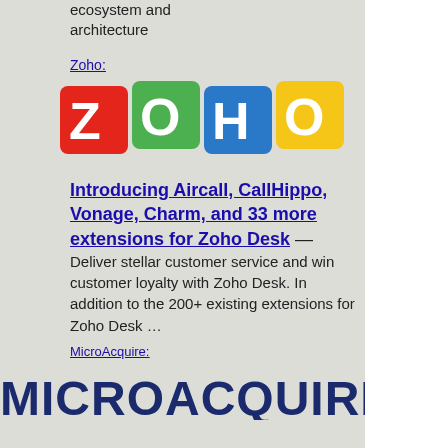ecosystem and architecture
Zoho:
[Figure (logo): Zoho colorful logo with letters Z O H O in colored blocks]
Introducing Aircall, CallHippo, Vonage, Charm, and 33 more extensions for Zoho Desk — Deliver stellar customer service and win customer loyalty with Zoho Desk. In addition to the 200+ existing extensions for Zoho Desk …
MicroAcquire:
[Figure (logo): MicroAcquire logo in dark blue bold text]